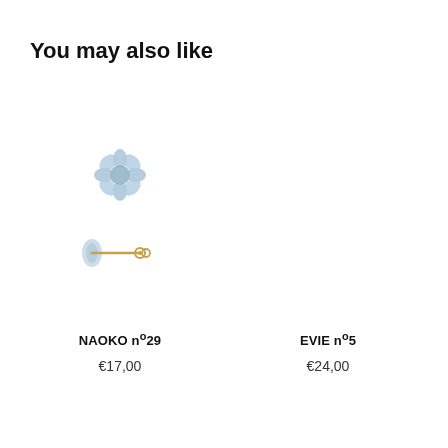You may also like
[Figure (photo): Blue flower-shaped stud earring (NAOKO nº29) shown from front, and side view with gold post]
NAOKO nº29
€17,00
[Figure (photo): EVIE nº5 earring product image (not visible in this crop)]
EVIE nº5
€24,00